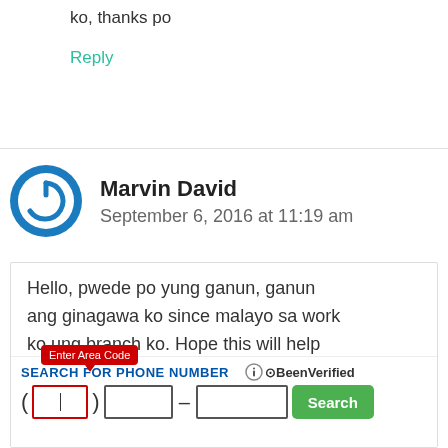ko, thanks po
Reply
Marvin David
September 6, 2016 at 11:19 am
Hello, pwede po yung ganun, ganun ang ginagawa ko since malayo sa work ko ung branch ko. Hope this will help
SEARCH FOR PHONE NUMBER
[Figure (screenshot): BeenVerified phone number search widget with area code field highlighted in red, tooltip saying 'Enter Area Code', and a green Search button]